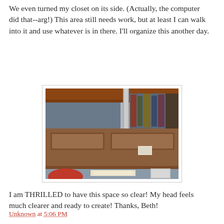We even turned my closet on its side. (Actually, the computer did that--arg!) This area still needs work, but at least I can walk into it and use whatever is in there. I'll organize this another day.
[Figure (photo): Photo of a wooden closet door lying on its side, viewed from below, with shelves and items visible above and below it in a cluttered space.]
I am THRILLED to have this space so clear! My head feels much clearer and ready to create! Thanks, Beth!
Unknown at 5:06 PM